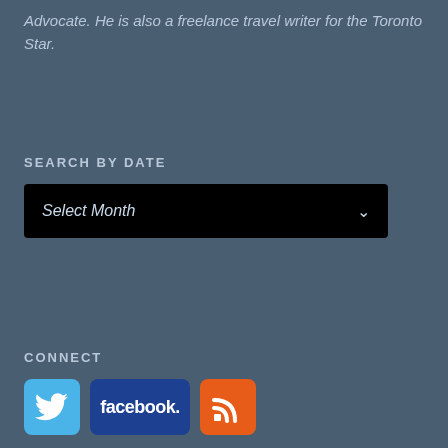Advocate. He is also a freelance travel writer for the Toronto Star.
SEARCH BY DATE
[Figure (screenshot): A dropdown/select box with black background showing 'Select Month' with a dropdown arrow on the right]
CONNECT
[Figure (infographic): Three social media icons side by side: Twitter (light blue bird icon), Facebook (dark blue with 'facebook' text), and RSS feed (orange with RSS icon)]